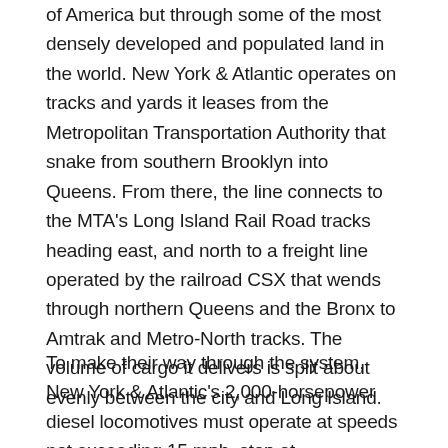of America but through some of the most densely developed and populated land in the world. New York & Atlantic operates on tracks and yards it leases from the Metropolitan Transportation Authority that snake from southern Brooklyn into Queens. From there, the line connects to the MTA's Long Island Rail Road tracks heading east, and north to a freight line operated by the railroad CSX that wends through northern Queens and the Bronx to Amtrak and Metro-North tracks. The volume of cargo it delivers is split about evenly between the city and Long Island.
To make their way through the system, New York & Atlantic's 2,000-horsepower diesel locomotives must operate at speeds not exceeding 15 mph, stop at